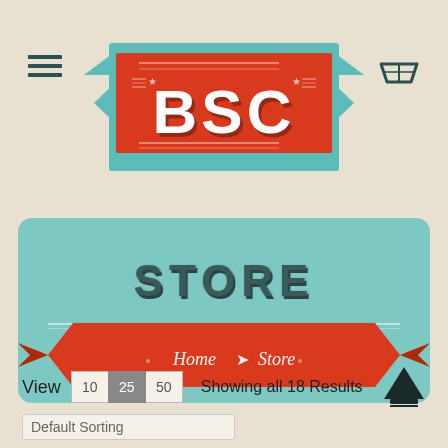[Figure (logo): BSC retro banner logo with teal arrow shapes on left and right, red center with white BSC text and decorative stars and lines]
[Figure (screenshot): Store page header section with teal background, large STORE text, and red ribbon banner showing Home > Store breadcrumb navigation]
View  10  25  50    Showing all 18 Results
Default Sorting